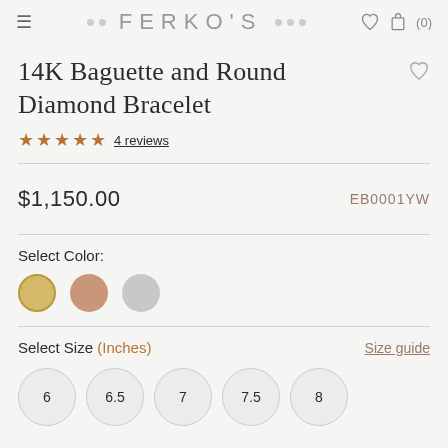FERKO'S
14K Baguette and Round Diamond Bracelet
★★★★★ 4 reviews
$1,150.00  EB0001YW
Select Color:
Select Size (Inches)  Size guide
6  6.5  7  7.5  8